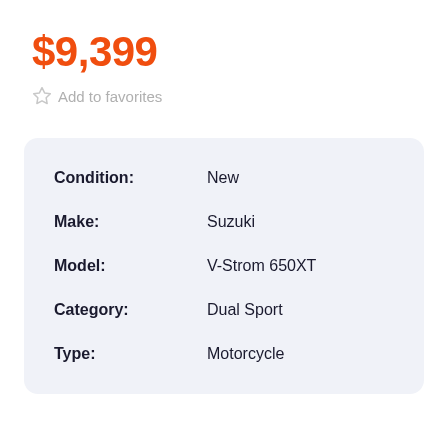$9,399
Add to favorites
| Condition: | New |
| Make: | Suzuki |
| Model: | V-Strom 650XT |
| Category: | Dual Sport |
| Type: | Motorcycle |